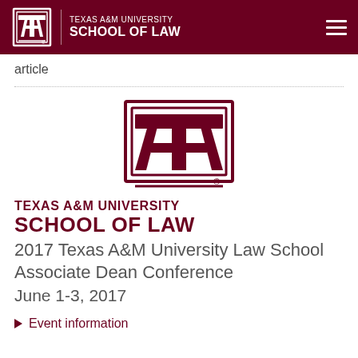TEXAS A&M UNIVERSITY SCHOOL OF LAW
article
[Figure (logo): Texas A&M University ATM logo mark in maroon, with horizontal bar underneath and registered trademark symbol, followed by TEXAS A&M UNIVERSITY SCHOOL OF LAW text in two lines]
TEXAS A&M UNIVERSITY SCHOOL OF LAW 2017 Texas A&M University Law School Associate Dean Conference June 1-3, 2017
Event information